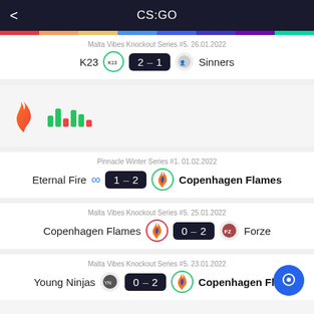CS:GO
Malta Vibes Knockout Series #5. 26.01.2022
K23  2 – 1  Sinners
[Figure (logo): Copenhagen Flames flame logo and betting odds logo]
Pinnacle Winter Series #1. 01.02.2022
Eternal Fire  1 – 2  Copenhagen Flames
Malta Vibes Knockout Series #5. 25.01.2022
Copenhagen Flames  0 – 2  Forze
Malta Vibes Knockout Series #5. 23.01.2022
Young Ninjas  0 – 2  Copenhagen Fla...